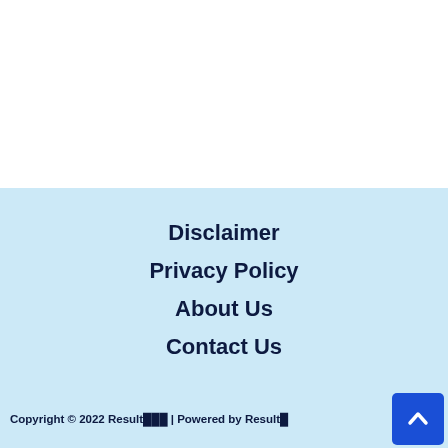Disclaimer
Privacy Policy
About Us
Contact Us
Copyright © 2022 Result🔲🔲🔲 | Powered by Result🔲